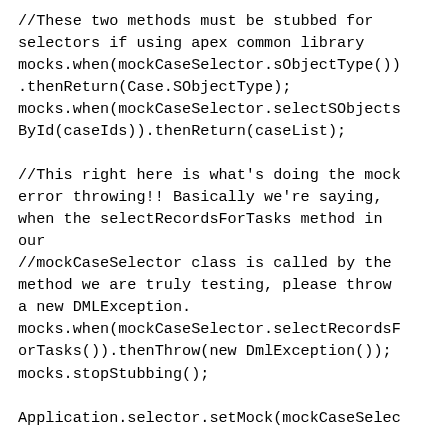//These two methods must be stubbed for selectors if using apex common library
mocks.when(mockCaseSelector.sObjectType()).thenReturn(Case.SObjectType);
mocks.when(mockCaseSelector.selectSObjectsById(caseIds)).thenReturn(caseList);

//This right here is what's doing the mock error throwing!! Basically we're saying, when the selectRecordsForTasks method in our
//mockCaseSelector class is called by the method we are truly testing, please throw a new DMLException.
mocks.when(mockCaseSelector.selectRecordsForTasks()).thenThrow(new DmlException());
mocks.stopStubbing();

Application.selector.setMock(mockCaseSele...